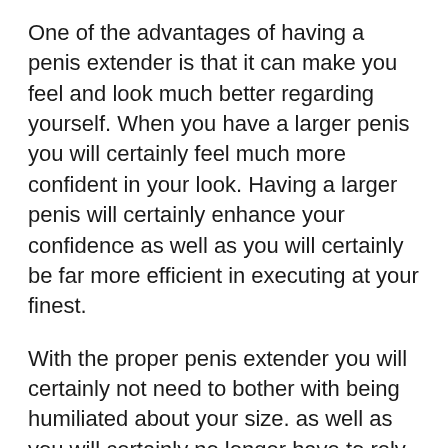One of the advantages of having a penis extender is that it can make you feel and look much better regarding yourself. When you have a larger penis you will certainly feel much more confident in your look. Having a larger penis will certainly enhance your confidence as well as you will certainly be far more efficient in executing at your finest.
With the proper penis extender you will certainly not need to bother with being humiliated about your size. as well as you will certainly no longer have to rely upon various other approaches for penis improvement. You will be able to show off your member to those you prefer.
You will also seem like your penis is stronger